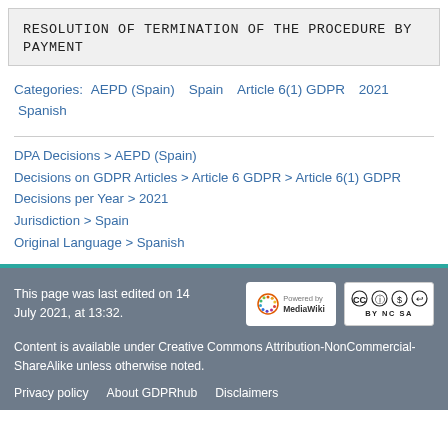RESOLUTION OF TERMINATION OF THE PROCEDURE BY PAYMENT
Categories: AEPD (Spain) Spain Article 6(1) GDPR 2021 Spanish
DPA Decisions > AEPD (Spain)
Decisions on GDPR Articles > Article 6 GDPR > Article 6(1) GDPR
Decisions per Year > 2021
Jurisdiction > Spain
Original Language > Spanish
This page was last edited on 14 July 2021, at 13:32. Content is available under Creative Commons Attribution-NonCommercial-ShareAlike unless otherwise noted. Privacy policy About GDPRhub Disclaimers